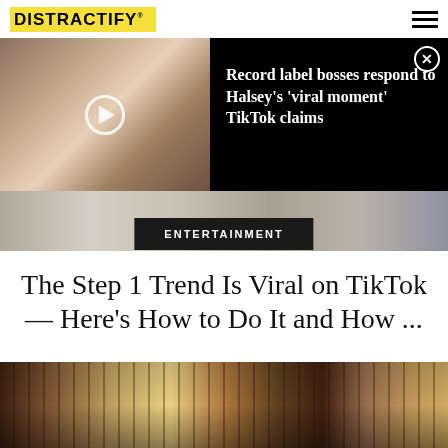DISTRACTIFY
[Figure (screenshot): Video thumbnail of a woman taking a selfie in a mirror, with a play button overlay, on a black background with article title 'Record label bosses respond to Halsey’s ‘viral moment’ TikTok claims']
Record label bosses respond to Halsey’s ‘viral moment’ TikTok claims
[Figure (photo): Wide photo strip background image]
ENTERTAINMENT
The Step 1 Trend Is Viral on TikTok — Here’s How to Do It and How ...
[Figure (photo): Photo of a person leaning over a shelf or bookcase filled with books and objects]